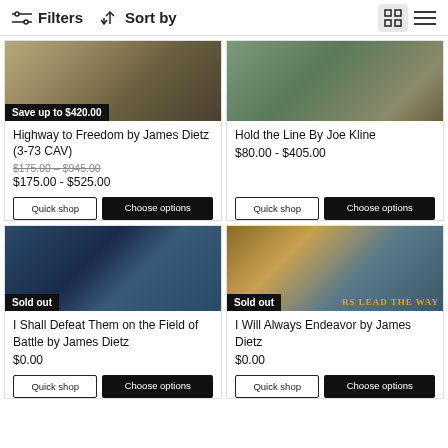Filters  Sort by
[Figure (screenshot): Product grid showing military art prints for sale]
Highway to Freedom by James Dietz (3-73 CAV)
$175.00 – $945.00  $175.00 - $525.00
Hold the Line By Joe Kline
$80.00 - $405.00
I Shall Defeat Them on the Field of Battle by James Dietz
$0.00
I Will Always Endeavor by James Dietz
$0.00